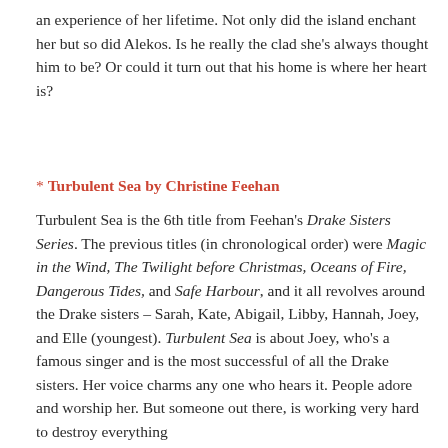an experience of her lifetime. Not only did the island enchant her but so did Alekos. Is he really the clad she's always thought him to be? Or could it turn out that his home is where her heart is?
* Turbulent Sea by Christine Feehan
Turbulent Sea is the 6th title from Feehan's Drake Sisters Series. The previous titles (in chronological order) were Magic in the Wind, The Twilight before Christmas, Oceans of Fire, Dangerous Tides, and Safe Harbour, and it all revolves around the Drake sisters – Sarah, Kate, Abigail, Libby, Hannah, Joey, and Elle (youngest). Turbulent Sea is about Joey, who's a famous singer and is the most successful of all the Drake sisters. Her voice charms any one who hears it. People adore and worship her. But someone out there, is working very hard to destroy everything